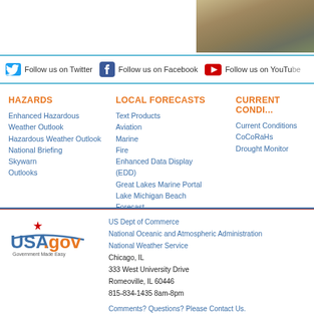[Figure (photo): Partial photo of sandy/gravelly outdoor ground, partially visible in top-right corner]
Follow us on Twitter   Follow us on Facebook   Follow us on YouTube
HAZARDS
Enhanced Hazardous Weather Outlook
Hazardous Weather Outlook
National Briefing
Skywarn
Outlooks
LOCAL FORECASTS
Text Products
Aviation
Marine
Fire
Enhanced Data Display (EDD)
Great Lakes Marine Portal
Lake Michigan Beach Forecast
El Nino
Snow and Ice Probabilities
CURRENT CONDITIONS
Current Conditions
CoCoRaHs
Drought Monitor
[Figure (logo): USA.gov Government Made Easy logo]
US Dept of Commerce
National Oceanic and Atmospheric Administration
National Weather Service
Chicago, IL
333 West University Drive
Romeoville, IL 60446
815-834-1435 8am-8pm
Comments? Questions? Please Contact Us.